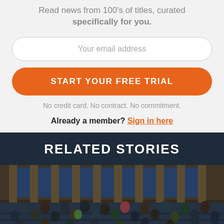Read news from 100's of titles, curated specifically for you.
Your email address
START YOUR FREE TRIAL
No credit card. No contract. No commitment.
Already a member? Sign in here
RELATED STORIES
[Figure (photo): Wide-angle photo of the United States Senate chamber filled with senators and staff during a session, with ornate columns and blue carpeting visible.]